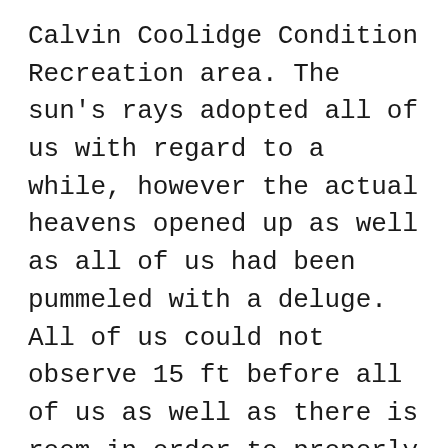Calvin Coolidge Condition Recreation area. The sun's rays adopted all of us with regard to a while, however the actual heavens opened up as well as all of us had been pummeled with a deluge. All of us could not observe 15 ft before all of us as well as there is room in order to properly draw more than. All of us lastly arrived at the city associated with Sharon, obtained instructions in the common shop as well as going in order to Woodstock… as well as sunlight! Following establishing the tents all of us constructed the fireplace as well as calm following a difficult day time on the highway.